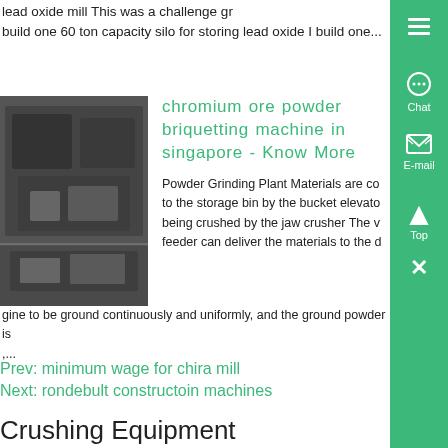lead oxide mill This was a challenge gr... build one 60 ton capacity silo for storing lead oxide I build one...
[Figure (photo): Industrial crushing/grinding machine, dark metallic equipment photographed outdoors]
chromium ore powder briquetting machine in singapore - Know More
Powder Grinding Plant Materials are co... to the storage bin by the bucket elevato... being crushed by the jaw crusher The v... feeder can deliver the materials to the ... gine to be ground continuously and uniformly, and the ground powder is... ,...
Prev: minimum wage for chira mill
Next: rondebult constructoin machines
Crushing Equipment